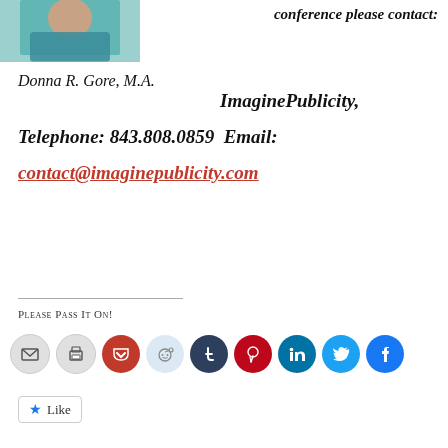[Figure (photo): Partial photo of a person wearing a teal/turquoise outfit, cropped at top-left]
conference please contact:
Donna R. Gore, M.A.
ImaginePublicity,
Telephone: 843.808.0859  Email:
contact@imaginepublicity.com
Please Pass It On!
[Figure (infographic): Row of social media share buttons: email, print, Pocket, Reddit, Tumblr, Pinterest, LinkedIn, Twitter, Facebook]
Like